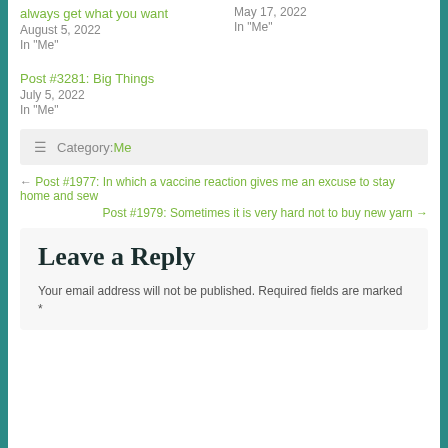always get what you want
August 5, 2022
In "Me"
May 17, 2022
In "Me"
Post #3281: Big Things
July 5, 2022
In "Me"
Category: Me
← Post #1977: In which a vaccine reaction gives me an excuse to stay home and sew
Post #1979: Sometimes it is very hard not to buy new yarn →
Leave a Reply
Your email address will not be published. Required fields are marked *